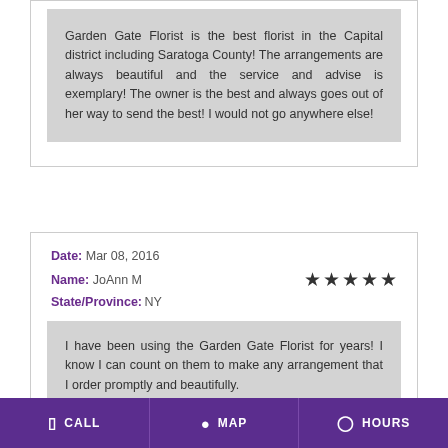Garden Gate Florist is the best florist in the Capital district including Saratoga County! The arrangements are always beautiful and the service and advise is exemplary! The owner is the best and always goes out of her way to send the best! I would not go anywhere else!
Date: Mar 08, 2016
Name: JoAnn M
State/Province: NY
I have been using the Garden Gate Florist for years! I know I can count on them to make any arrangement that I order promptly and beautifully.
CALL | MAP | HOURS